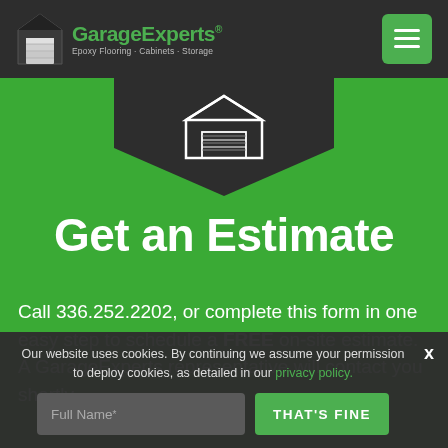GarageExperts® Epoxy Flooring · Cabinets · Storage
[Figure (logo): GarageExperts logo with house/garage icon in black and silver, green text GarageExperts with registered trademark, tagline Epoxy Flooring · Cabinets · Storage in gray]
[Figure (illustration): Dark chevron/arrow pointing down with GarageExperts garage door icon centered on green background]
Get an Estimate
Call 336.252.2202, or complete this form in one easy step to schedule a FREE on-site estimate. A GarageExperts representative will contact you shortly.
Our website uses cookies. By continuing we assume your permission to deploy cookies, as detailed in our privacy policy.
Full Name*
THAT'S FINE